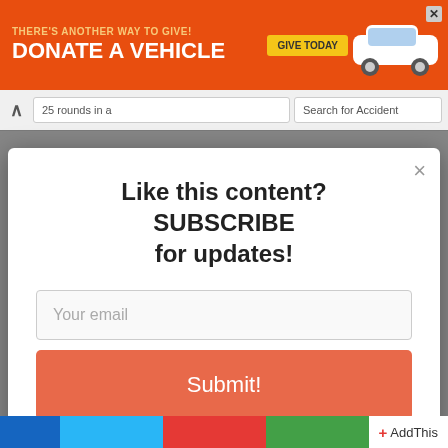[Figure (screenshot): Orange advertisement banner: THERE'S ANOTHER WAY TO GIVE! DONATE A VEHICLE - GIVE TODAY, with a white car image on the right and an X close button]
[Figure (screenshot): Browser navigation bar with back arrow button, partial URL bar showing '25 rounds in a' and search bar showing 'Search for Accident']
Like this content? SUBSCRIBE for updates!
Your email
Submit!
[Figure (screenshot): AddThis social sharing bottom bar with colored segments (blue, light blue, red, green) and AddThis logo]